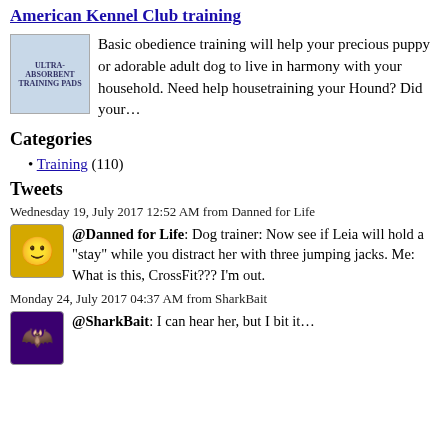American Kennel Club training
Basic obedience training will help your precious puppy or adorable adult dog to live in harmony with your household. Need help housetraining your Hound? Did your…
Categories
Training (110)
Tweets
Wednesday 19, July 2017 12:52 AM from Danned for Life
@Danned for Life: Dog trainer: Now see if Leia will hold a "stay" while you distract her with three jumping jacks. Me: What is this, CrossFit??? I'm out.
Monday 24, July 2017 04:37 AM from SharkBait
@SharkBait: ...